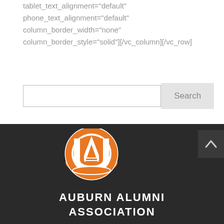tablet_text_alignment="default"
phone_text_alignment="default"
column_border_width="none"
column_border_style="solid"][/vc_column][/vc_row]
[Figure (screenshot): Search bar (text input field) and a Search button]
[Figure (logo): Auburn University interlocking AU logo in orange and white, followed by text AUBURN ALUMNI ASSOCIATION in white on dark background]